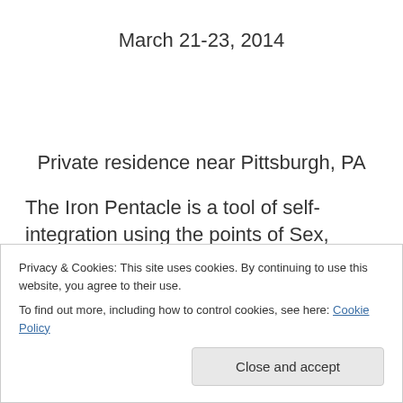March 21-23, 2014
Private residence near Pittsburgh, PA
The Iron Pentacle is a tool of self-integration using the points of Sex, Pride, Self, Power and Passion to explore our inner shadows and the cultural shadows that we all deal with on a daily basis. Part of our work is to learn how
Privacy & Cookies: This site uses cookies. By continuing to use this website, you agree to their use.
To find out more, including how to control cookies, see here: Cookie Policy
Close and accept